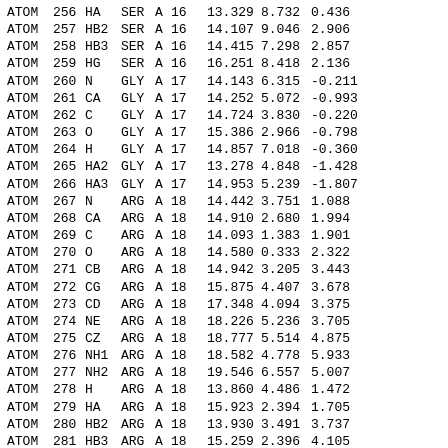| Record | Serial | Name | Res | Chain | ResSeq |  | X | Y | Z | ... |
| --- | --- | --- | --- | --- | --- | --- | --- | --- | --- | --- |
| ATOM | 256 | HA | SER | A | 16 |  | 13.329 | 8.732 | 0.436 |  |
| ATOM | 257 | HB2 | SER | A | 16 |  | 14.107 | 9.046 | 2.906 |  |
| ATOM | 258 | HB3 | SER | A | 16 |  | 14.415 | 7.298 | 2.857 |  |
| ATOM | 259 | HG | SER | A | 16 |  | 16.251 | 8.418 | 2.136 |  |
| ATOM | 260 | N | GLY | A | 17 |  | 14.143 | 6.315 | -0.211 |  |
| ATOM | 261 | CA | GLY | A | 17 |  | 14.252 | 5.072 | -0.993 |  |
| ATOM | 262 | C | GLY | A | 17 |  | 14.724 | 3.830 | -0.220 |  |
| ATOM | 263 | O | GLY | A | 17 |  | 15.386 | 2.966 | -0.798 |  |
| ATOM | 264 | H | GLY | A | 17 |  | 14.857 | 7.018 | -0.360 |  |
| ATOM | 265 | HA2 | GLY | A | 17 |  | 13.278 | 4.848 | -1.428 |  |
| ATOM | 266 | HA3 | GLY | A | 17 |  | 14.953 | 5.239 | -1.807 |  |
| ATOM | 267 | N | ARG | A | 18 |  | 14.442 | 3.751 | 1.088 |  |
| ATOM | 268 | CA | ARG | A | 18 |  | 14.910 | 2.680 | 1.994 |  |
| ATOM | 269 | C | ARG | A | 18 |  | 14.093 | 1.383 | 1.901 |  |
| ATOM | 270 | O | ARG | A | 18 |  | 14.580 | 0.333 | 2.322 |  |
| ATOM | 271 | CB | ARG | A | 18 |  | 14.942 | 3.205 | 3.443 |  |
| ATOM | 272 | CG | ARG | A | 18 |  | 15.875 | 4.407 | 3.678 |  |
| ATOM | 273 | CD | ARG | A | 18 |  | 17.348 | 4.094 | 3.375 |  |
| ATOM | 274 | NE | ARG | A | 18 |  | 18.226 | 5.236 | 3.705 |  |
| ATOM | 275 | CZ | ARG | A | 18 |  | 18.777 | 5.514 | 4.875 |  |
| ATOM | 276 | NH1 | ARG | A | 18 |  | 18.582 | 4.778 | 5.933 |  |
| ATOM | 277 | NH2 | ARG | A | 18 |  | 19.546 | 6.557 | 5.007 |  |
| ATOM | 278 | H | ARG | A | 18 |  | 13.860 | 4.486 | 1.472 |  |
| ATOM | 279 | HA | ARG | A | 18 |  | 15.923 | 2.394 | 1.705 |  |
| ATOM | 280 | HB2 | ARG | A | 18 |  | 13.930 | 3.491 | 3.737 |  |
| ATOM | 281 | HB3 | ARG | A | 18 |  | 15.259 | 2.396 | 4.105 |  |
| ATOM | 282 | HG2 | ARG | A | 18 |  | 15.556 | 5.246 | 3.060 |  |
| ATOM | 283 | HG3 | ARG | A | 18 |  | 15.786 | 4.707 | 4.723 |  |
| ATOM | 284 | HD2 | ARG | A | 18 |  | 17.656 | 3.206 | 3.929 |  |
| ATOM | 285 | HD3 | ARG | A | 18 |  | 17.453 | 3.875 | 2.311 |  |